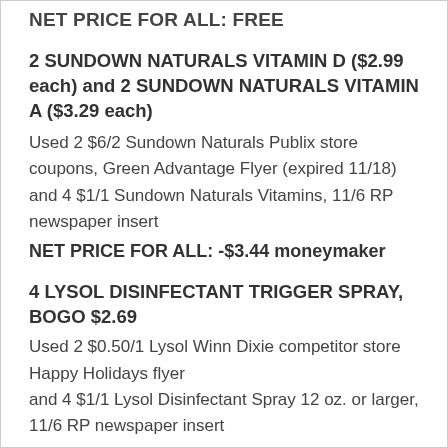NET PRICE FOR ALL: FREE
2 SUNDOWN NATURALS VITAMIN D ($2.99 each) and 2 SUNDOWN NATURALS VITAMIN A ($3.29 each)
Used 2 $6/2 Sundown Naturals Publix store coupons, Green Advantage Flyer (expired 11/18)
and 4 $1/1 Sundown Naturals Vitamins, 11/6 RP newspaper insert
NET PRICE FOR ALL: -$3.44 moneymaker
4 LYSOL DISINFECTANT TRIGGER SPRAY, BOGO $2.69
Used 2 $0.50/1 Lysol Winn Dixie competitor store Happy Holidays flyer
and 4 $1/1 Lysol Disinfectant Spray 12 oz. or larger, 11/6 RP newspaper insert